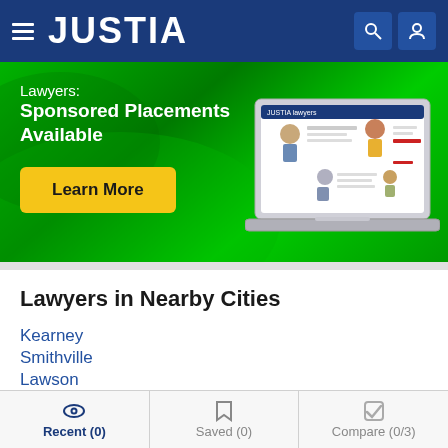JUSTIA
[Figure (screenshot): Justia Lawyers Sponsored Placements Available banner with green background, Learn More button, and laptop illustration]
Lawyers in Nearby Cities
Kearney
Smithville
Lawson
Saint Joseph
Recent (0)   Saved (0)   Compare (0/3)